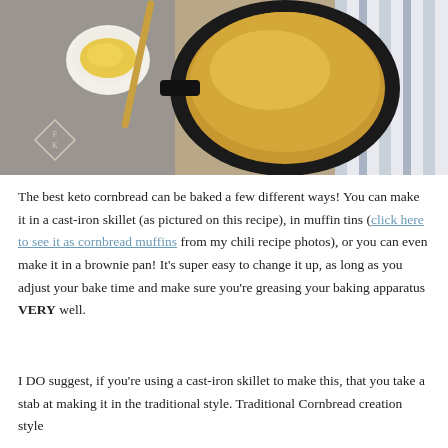[Figure (photo): Overhead photo of keto cornbread in a black cast-iron skillet, with a small white bowl of butter and a gold spreader on a gray surface, with a striped cloth napkin on the right. Small diamond logo with FK initials in lower left.]
The best keto cornbread can be baked a few different ways! You can make it in a cast-iron skillet (as pictured on this recipe), in muffin tins (click here to see it as cornbread muffins from my chili recipe photos), or you can even make it in a brownie pan! It's super easy to change it up, as long as you adjust your bake time and make sure you're greasing your baking apparatus VERY well.
I DO suggest, if you're using a cast-iron skillet to make this, that you take a stab at making it in the traditional style. Traditional Cornbread creation style